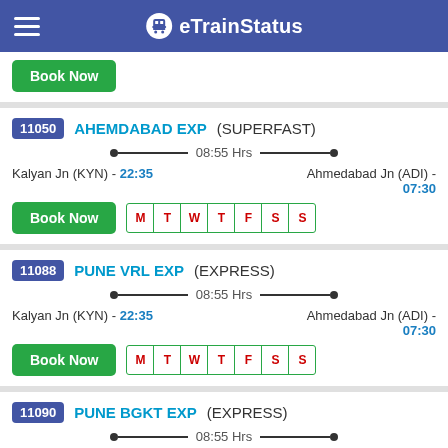eTrainStatus
Book Now (partial card from previous entry)
11050 AHEMDABAD EXP (SUPERFAST) — 08:55 Hrs — Kalyan Jn (KYN) - 22:35 to Ahmedabad Jn (ADI) - 07:30 — Days: M T W T F S S
11088 PUNE VRL EXP (EXPRESS) — 08:55 Hrs — Kalyan Jn (KYN) - 22:35 to Ahmedabad Jn (ADI) - 07:30 — Days: M T W T F S S
11090 PUNE BGKT EXP (EXPRESS) — 08:55 Hrs — Kalyan Jn (KYN) - 22:35 to Ahmedabad Jn (ADI) - Days: M T W T F S S